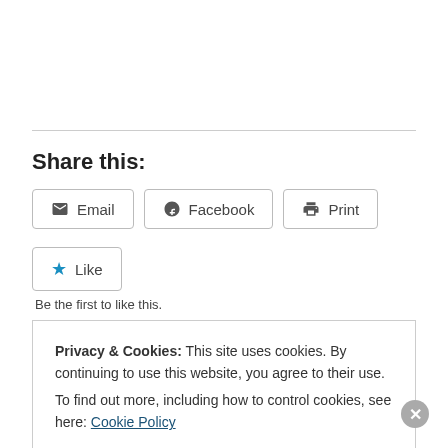Share this:
Email   Facebook   Print
Like
Be the first to like this.
Privacy & Cookies: This site uses cookies. By continuing to use this website, you agree to their use.
To find out more, including how to control cookies, see here: Cookie Policy
Close and accept